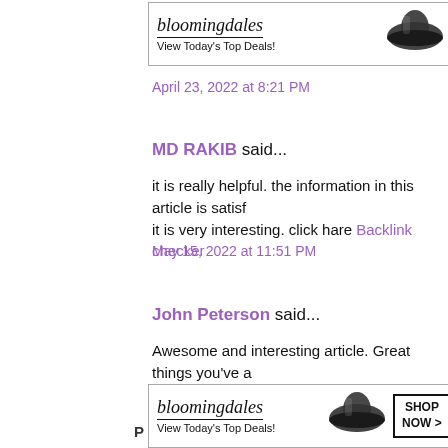[Figure (screenshot): Bloomingdales advertisement banner at top: logo, 'View Today's Top Deals!', hat image, 'SHOP NOW >' button. Partially visible 'providing' text to the right.]
April 23, 2022 at 8:21 PM
MD RAKIB said...
it is really helpful. the information in this article is satisf... it is very interesting. click hare Backlink checker
May 15, 2022 at 11:51 PM
John Peterson said...
Awesome and interesting article. Great things you've a... Just continue composing this kind of post. SharePoint co...
July 8, 2022 at 3:46 AM
[Figure (screenshot): Bloomingdales advertisement banner at bottom: logo, 'View Today's Top Deals!', hat image, 'SHOP NOW >' button. 'CLOSE' button overlay, partial 'O TOP' text to the right, partial 'P' letter to the left.]